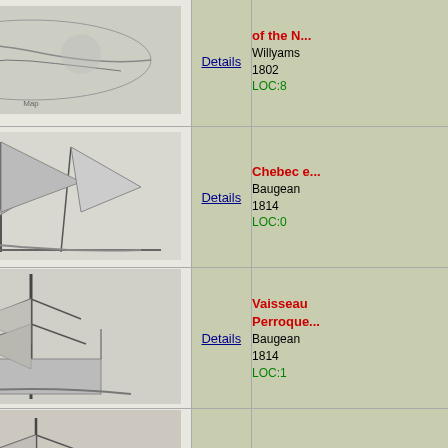| Image | Details | Info |
| --- | --- | --- |
| [map image] | Details | of the N...
Willyams
1802
LOC:8 |
| [chebec sailing ship image] | Details | Chebec e...
Baugean
1814
LOC:0 |
| [vaisseau ship image] | Details | Vaisseau Perroque...
Baugean
1814
LOC:1 |
| [bombard ship image] | Details | Bombard...
Baugean
1814
LOC:1 |
| [demi gal ship image] | Details | Demi Gal...
Baugean
1814
LOC:1 |
| [sloop ship image] | Details | Sloop vu...
Baugean
1814
LOC:1 |